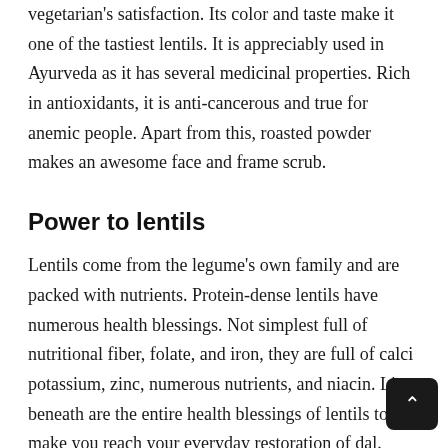vegetarian's satisfaction. Its color and taste make it one of the tastiest lentils. It is appreciably used in Ayurveda as it has several medicinal properties. Rich in antioxidants, it is anti-cancerous and true for anemic people. Apart from this, roasted powder makes an awesome face and frame scrub.
Power to lentils
Lentils come from the legume's own family and are packed with nutrients. Protein-dense lentils have numerous health blessings. Not simplest full of nutritional fiber, folate, and iron, they are full of calci potassium, zinc, numerous nutrients, and niacin. List beneath are the entire health blessings of lentils to make you reach your everyday restoration of dal.